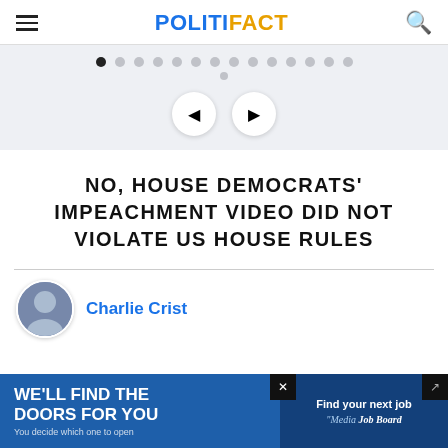POLITIFACT
[Figure (screenshot): Carousel navigation strip with dots and prev/next arrow buttons on a light gray background]
NO, HOUSE DEMOCRATS' IMPEACHMENT VIDEO DID NOT VIOLATE US HOUSE RULES
[Figure (photo): Avatar photo of Charlie Crist]
Charlie Crist
[Figure (infographic): Advertisement banner: WE'LL FIND THE DOORS FOR YOU / You decide which one to open (left side) and Find your next job / Media Job Board (right side)]